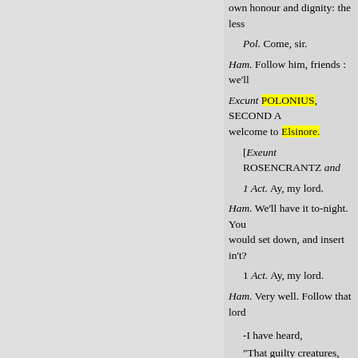own honour and dignity: the less...
Pol. Come, sir.
Ham. Follow him, friends : we'll...
Excunt POLONIUS, SECOND A... welcome to Elsinore.
[Exeunt ROSENCRANTZ and...
1 Act. Ay, my lord.
Ham. We'll have it to-night. You would set down, and insert in't?
1 Act. Ay, my lord.
Ham. Very well. Follow that lord...
-I have heard,
"That guilty creatures, sittin...
Have by the very cunning o...
Been struck so to the soul, t...
They have proclaim'd their...
For murder, though it have n...
With most miraculous orga...
Play something like the mur...